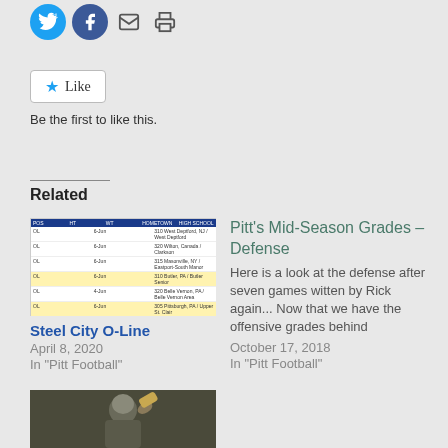[Figure (illustration): Social sharing icons: Twitter (blue circle), Facebook (blue circle), email (envelope icon), print (printer icon)]
[Figure (illustration): Like button widget with blue star and 'Like' text in a white rounded rectangle]
Be the first to like this.
Related
[Figure (table-as-image): Spreadsheet thumbnail showing Steel City O-Line recruit data with blue header row and yellow/white alternating rows]
Steel City O-Line
April 8, 2020
In "Pitt Football"
Pitt's Mid-Season Grades – Defense
Here is a look at the defense after seven games witten by Rick again... Now that we have the offensive grades behind
October 17, 2018
In "Pitt Football"
[Figure (photo): Football player in gold/dark uniform throwing a pass]